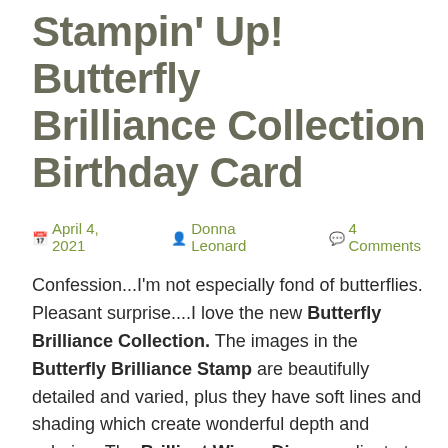Stampin' Up! Butterfly Brilliance Collection Birthday Card
April 4, 2021   Donna Leonard   4 Comments
Confession...I'm not especially fond of butterflies. Pleasant surprise....I love the new Butterfly Brilliance Collection. The images in the Butterfly Brilliance Stamp are beautifully detailed and varied, plus they have soft lines and shading which create wonderful depth and coloring. The Brilliant Wings Dies coordinate to cut 1 to 6 (at once) butterflies either stamped or from the awesome Butterfly Bijou 6" x 6" Designer Series Paper. The stamp and die bundle is